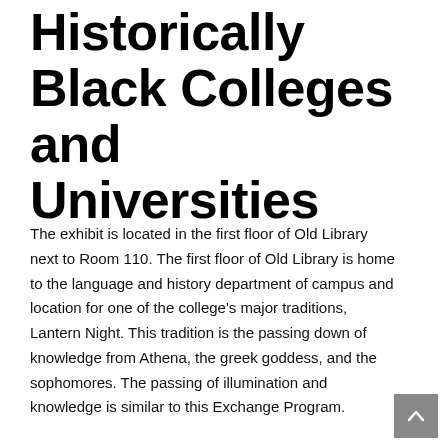Historically Black Colleges and Universities
The exhibit is located in the first floor of Old Library next to Room 110. The first floor of Old Library is home to the language and history department of campus and location for one of the college's major traditions, Lantern Night. This tradition is the passing down of knowledge from Athena, the greek goddess, and the sophomores. The passing of illumination and knowledge is similar to this Exchange Program.